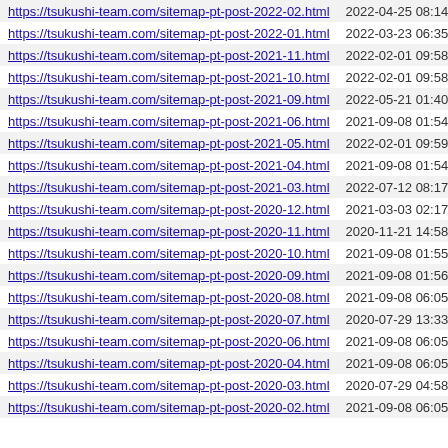| URL | Date |
| --- | --- |
| https://tsukushi-team.com/sitemap-pt-post-2022-02.html | 2022-04-25 08:14 |
| https://tsukushi-team.com/sitemap-pt-post-2022-01.html | 2022-03-23 06:35 |
| https://tsukushi-team.com/sitemap-pt-post-2021-11.html | 2022-02-01 09:58 |
| https://tsukushi-team.com/sitemap-pt-post-2021-10.html | 2022-02-01 09:58 |
| https://tsukushi-team.com/sitemap-pt-post-2021-09.html | 2022-05-21 01:40 |
| https://tsukushi-team.com/sitemap-pt-post-2021-06.html | 2021-09-08 01:54 |
| https://tsukushi-team.com/sitemap-pt-post-2021-05.html | 2022-02-01 09:59 |
| https://tsukushi-team.com/sitemap-pt-post-2021-04.html | 2021-09-08 01:54 |
| https://tsukushi-team.com/sitemap-pt-post-2021-03.html | 2022-07-12 08:17 |
| https://tsukushi-team.com/sitemap-pt-post-2020-12.html | 2021-03-03 02:17 |
| https://tsukushi-team.com/sitemap-pt-post-2020-11.html | 2020-11-21 14:58 |
| https://tsukushi-team.com/sitemap-pt-post-2020-10.html | 2021-09-08 01:55 |
| https://tsukushi-team.com/sitemap-pt-post-2020-09.html | 2021-09-08 01:56 |
| https://tsukushi-team.com/sitemap-pt-post-2020-08.html | 2021-09-08 06:05 |
| https://tsukushi-team.com/sitemap-pt-post-2020-07.html | 2020-07-29 13:33 |
| https://tsukushi-team.com/sitemap-pt-post-2020-06.html | 2021-09-08 06:05 |
| https://tsukushi-team.com/sitemap-pt-post-2020-04.html | 2021-09-08 06:05 |
| https://tsukushi-team.com/sitemap-pt-post-2020-03.html | 2020-07-29 04:58 |
| https://tsukushi-team.com/sitemap-pt-post-2020-02.html | 2021-09-08 06:05 |